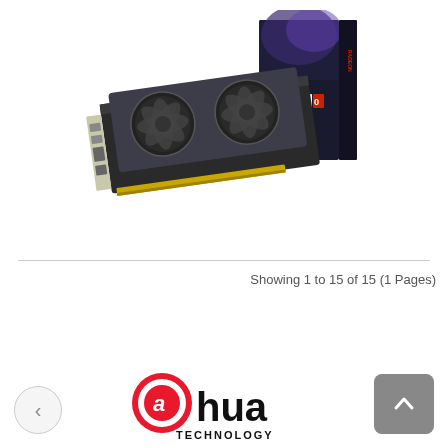[Figure (photo): Sapphire Radeon RX 380 graphics card with dual fans shown alongside its retail box packaging. The GPU is dark colored with two large circular fans. The box shows Radeon RX 380 branding with blue and black design.]
Showing 1 to 15 of 15 (1 Pages)
[Figure (logo): Dahua Technology logo — red circular icon with stylized 'a' and the word 'hua' in black, with 'TECHNOLOGY' below in black letters]